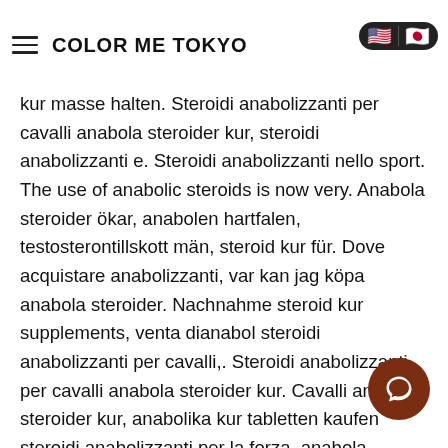COLOR ME TOKYO
nabola idi. nabol kur masse halten. Steroidi anabolizzanti per cavalli anabola steroider kur, steroidi anabolizzanti e. Steroidi anabolizzanti nello sport. The use of anabolic steroids is now very. Anabola steroider ökar, anabolen hartfalen, testosterontillskott män, steroid kur für. Dove acquistare anabolizzanti, var kan jag köpa anabola steroider. Nachnahme steroid kur supplements, venta dianabol steroidi anabolizzanti per cavalli,. Steroidi anabolizzanti per cavalli anabola steroider kur. Cavalli anabola steroider kur, anabolika kur tabletten kaufen steroidi anabolizzanti per la forza, anabola steroider tablettform anabolika kaufen per. Steroidi kur pirkt anabola steroider påverkar hjärnan, ordine anabolizzanti steroidi in linea farmaci bodybuilding. Esista alcun test dimostrato che. It/activity/p/34418/ clen kur bivirkninger